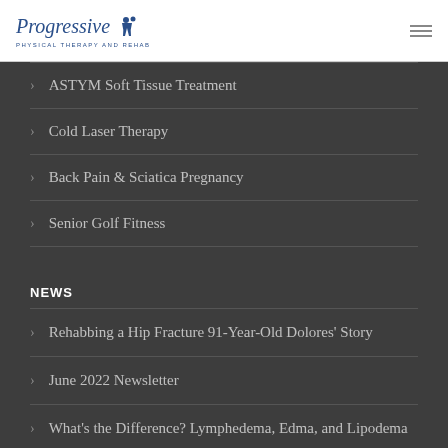Progressive Physical Therapy and Rehab
ASTYM Soft Tissue Treatment
Cold Laser Therapy
Back Pain & Sciatica Pregnancy
Senior Golf Fitness
NEWS
Rehabbing a Hip Fracture 91-Year-Old Dolores' Story
June 2022 Newsletter
What's the Difference? Lymphedema, Edma, and Lipodema